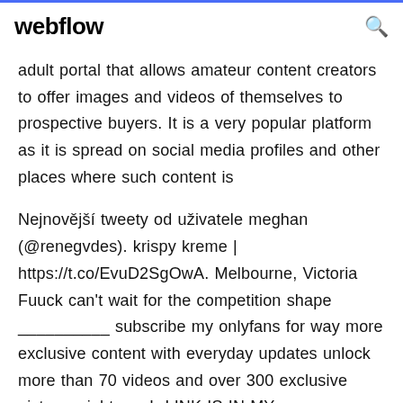webflow
adult portal that allows amateur content creators to offer images and videos of themselves to prospective buyers. It is a very popular platform as it is spread on social media profiles and other places where such content is
Nejnovější tweety od uživatele meghan (@renegvdes). krispy kreme | https://t.co/EvuD2SgOwA. Melbourne, Victoria Fuuck can't wait for the competition shape __________ subscribe my onlyfans for way more exclusive content with everyday updates unlock more than 70 videos and over 300 exclusive pictures right now!  LINK IS IN MY...